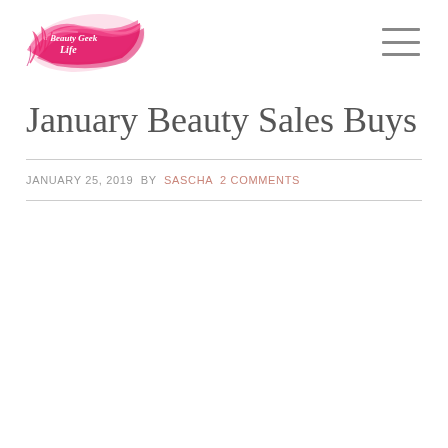[Figure (logo): Beauty Geek Life blog logo with pink paint brush strokes and script text]
January Beauty Sales Buys
JANUARY 25, 2019 BY SASCHA 2 COMMENTS